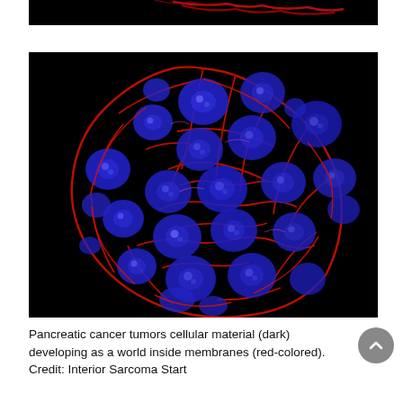[Figure (photo): Partial top image showing dark microscopy image with red cell structures on black background — cropped top portion]
[Figure (photo): Fluorescence microscopy image of pancreatic cancer tumor cells. Blue (DAPI-stained) nuclei of cancer cells form a spheroid cluster, surrounded by red-colored cell membranes, on a black background.]
Pancreatic cancer tumors cellular material (dark) developing as a world inside membranes (red-colored). Credit: Interior Sarcoma Start